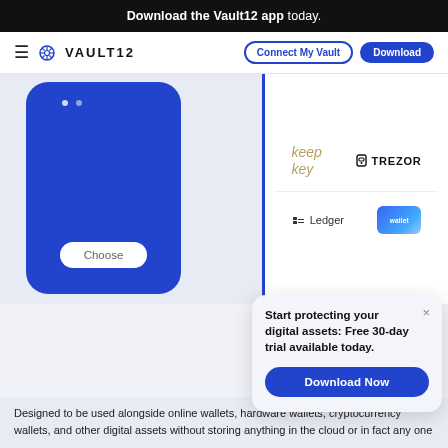Download the Vault12 app today.
[Figure (screenshot): Vault12 navigation bar with hamburger menu, Vault12 logo, Connect My Vault outline button, and Download solid blue button]
[Figure (screenshot): App screenshot showing two phone screens side by side: left phone has a blue screen with a Choose button; right phone shows a wallet selection screen with KeepKey, Trezor, Ledger, and Mycelium logos]
[Figure (screenshot): Popup modal overlay with close button (×), bold title 'Start protecting your digital assets: Free 30-day trial available today.' and a blue Download Now button]
Designed to be used alongside online wallets, hardware wallets, cryptocurrency wallets, and other digital assets without storing anything in the cloud or in fact any one